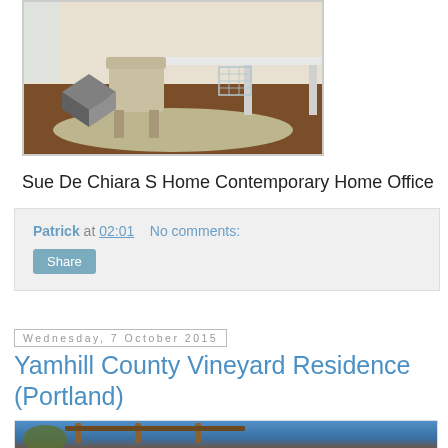[Figure (photo): Interior photo of a contemporary home office with a chair, desk, and area rug on hardwood floors]
Sue De Chiara S Home Contemporary Home Office
Patrick at 02:01    No comments:
Share
Wednesday, 7 October 2015
Yamhill County Vineyard Residence (Portland)
[Figure (photo): Exterior photo of a residence with wooden pergola structure against a blue sky]